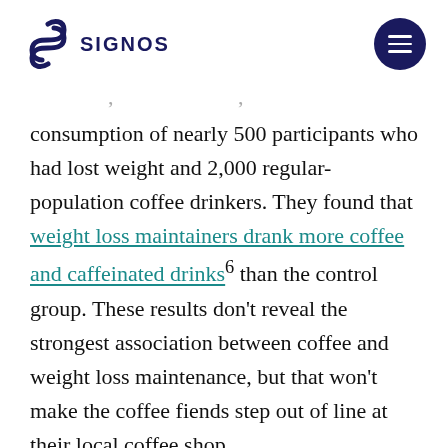SIGNOS
consumption of nearly 500 participants who had lost weight and 2,000 regular-population coffee drinkers. They found that weight loss maintainers drank more coffee and caffeinated drinks⁶ than the control group. These results don’t reveal the strongest association between coffee and weight loss maintenance, but that won’t make the coffee fiends step out of line at their local coffee shop.